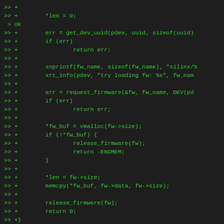[Figure (screenshot): Code diff output showing C source code additions (lines prefixed with >> +) including firmware loading logic: setting *len=0, calling get_dev_uuid, snprintf for fw_name, request_firmware, vmalloc for fw_buf, memcpy, release_firmware, and a static function xmgmt_get_axlf_firmware with a switch statement on 'kind' with case XMGMT_BLP.]